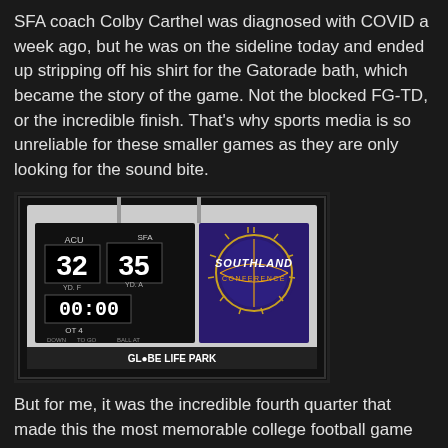SFA coach Colby Carthel was diagnosed with COVID a week ago, but he was on the sideline today and ended up stripping off his shirt for the Gatorade bath, which became the story of the game. Not the blocked FG-TD, or the incredible finish. That's why sports media is so unreliable for these smaller games as they are only looking for the sound bite.
[Figure (photo): Scoreboard at Globe Life Park showing ACU 32, SFA 35, time 00:00, OT 4, with Southland Conference logo displayed on screen.]
But for me, it was the incredible fourth quarter that made this the most memorable college football game I've ever seen. Not that I have seen very many. Both TCU and SMU were home on this day and prices for those games were quite high with neither game particularly entertaining, so I am glad